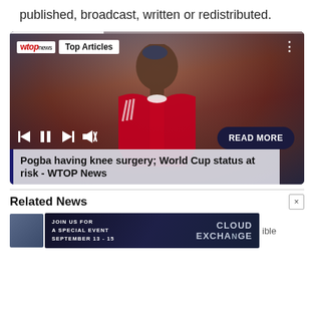published, broadcast, written or redistributed.
[Figure (screenshot): WTOP News media player widget showing a Manchester United footballer (Paul Pogba) in red kit, looking up. The player shows 'wtop news Top Articles' at top-left, a three-dot menu at top-right, playback controls at the bottom-left, and a 'READ MORE' button. A caption bar reads 'Pogba having knee surgery; World Cup status at risk - WTOP News'.]
Related News
[Figure (screenshot): Advertisement banner: 'JOIN US FOR A SPECIAL EVENT SEPTEMBER 13 - 15' with 'CLOUD EXCHANGE' logo on dark blue background. Partially visible text 'ible' on the right.]